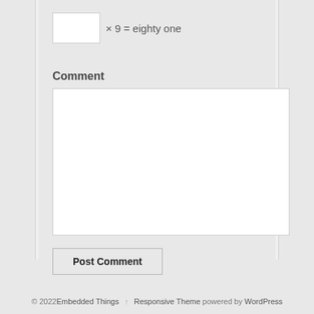× 9 = eighty one
Comment
[textarea for comment]
Post Comment
© 2022 Embedded Things · Responsive Theme powered by WordPress